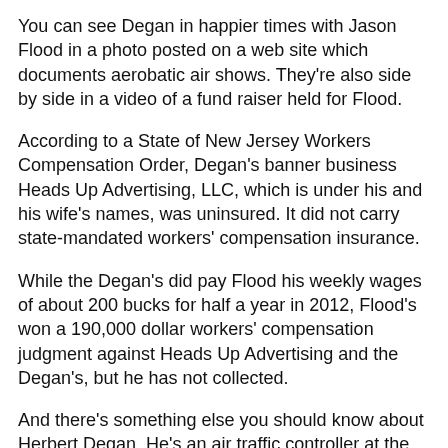You can see Degan in happier times with Jason Flood in a photo posted on a web site which documents aerobatic air shows. They're also side by side in a video of a fund raiser held for Flood.
According to a State of New Jersey Workers Compensation Order, Degan's banner business Heads Up Advertising, LLC, which is under his and his wife's names, was uninsured. It did not carry state-mandated workers' compensation insurance.
While the Degan's did pay Flood his weekly wages of about 200 bucks for half a year in 2012, Flood's won a 190,000 dollar workers' compensation judgment against Heads Up Advertising and the Degan's, but he has not collected.
And there's something else you should know about Herbert Degan. He's an air traffic controller at the Atlantic City Airport. He's directed aircraft to depart and land safely for 22 years. In fact, he's listed as the "safety rep." at the Atlantic City air traffic control Tower for the National Air Traffic Controllers Union.